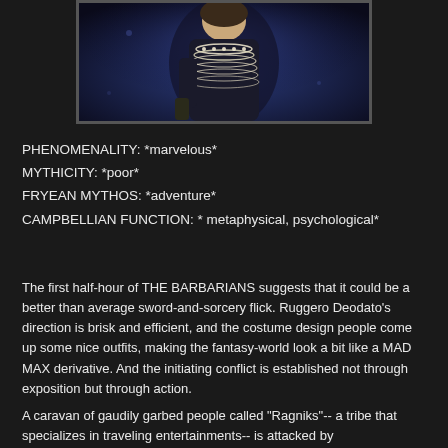[Figure (photo): A performer wearing layered pearl necklaces and dark clothing, photographed from below in a dark blue-lit scene]
PHENOMENALITY: *marvelous*
MYTHICITY: *poor*
FRYEAN MYTHOS: *adventure*
CAMPBELLIAN FUNCTION: * metaphysical, psychological*
The first half-hour of THE BARBARIANS suggests that it could be a better than average sword-and-sorcery flick. Ruggero Deodato's direction is brisk and efficient, and the costume design people come up some nice outfits, making the fantasy-world look a bit like a MAD MAX derivative. And the initiating conflict is established not through exposition but through action.
A caravan of gaudily garbed people called "Ragniks"-- a tribe that specializes in traveling entertainments-- is attacked by